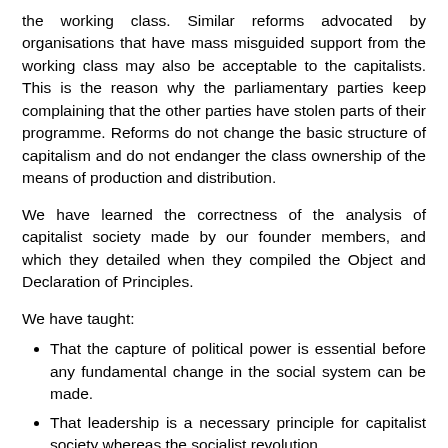the working class. Similar reforms advocated by organisations that have mass misguided support from the working class may also be acceptable to the capitalists. This is the reason why the parliamentary parties keep complaining that the other parties have stolen parts of their programme. Reforms do not change the basic structure of capitalism and do not endanger the class ownership of the means of production and distribution.
We have learned the correctness of the analysis of capitalist society made by our founder members, and which they detailed when they compiled the Object and Declaration of Principles.
We have taught:
That the capture of political power is essential before any fundamental change in the social system can be made.
That leadership is a necessary principle for capitalist society whereas the socialist revolution